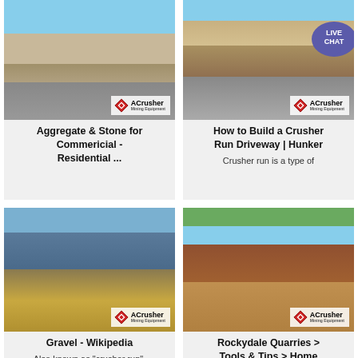[Figure (photo): Mining/aggregate facility with conveyor belts and equipment, ACrusher logo overlay]
Aggregate & Stone for Commericial - Residential ...
[Figure (photo): Open quarry pit with excavation equipment and rocky cliff face, ACrusher logo overlay, Live Chat bubble]
How to Build a Crusher Run Driveway | Hunker
Crusher run is a type of
[Figure (photo): Close-up of large industrial cone crusher equipment underside, ACrusher logo overlay]
Gravel - Wikipedia
Also known as "crusher run", DGA (dense grade...
[Figure (photo): Outdoor quarry crushing facility with multiple machines and conveyors, ACrusher logo overlay]
Rockydale Quarries > Tools & Tips > Home Owner Tips